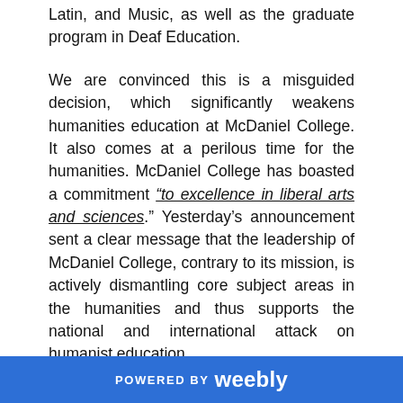Latin, and Music, as well as the graduate program in Deaf Education.
We are convinced this is a misguided decision, which significantly weakens humanities education at McDaniel College. It also comes at a perilous time for the humanities. McDaniel College has boasted a commitment “to excellence in liberal arts and sciences.” Yesterday’s announcement sent a clear message that the leadership of McDaniel College, contrary to its mission, is actively dismantling core subject areas in the humanities and thus supports the national and international attack on humanist education.
Moreover, we write as language and culture
POWERED BY weebly